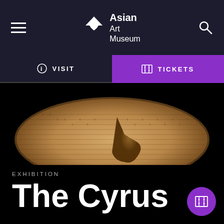Asian Art Museum
VISIT
TICKETS
[Figure (photo): The Cyrus Cylinder – an ancient clay cylinder covered in Akkadian cuneiform script, displayed against a black background. The barrel-shaped object has a crack and damage in the center area.]
EXHIBITION
The Cyrus